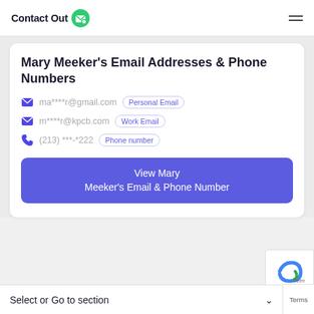ContactOut
Mary Meeker's Email Addresses & Phone Numbers
ma****r@gmail.com  Personal Email
m****r@kpcb.com  Work Email
(213) ***-*222  Phone number
View Mary Meeker's Email & Phone Number
Select or Go to section